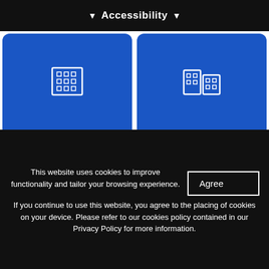Accessibility
[Figure (illustration): Blue card with hospital building icon and text 'Leigh Infirmary']
[Figure (illustration): Blue card with hospital building icon and text 'Thomas Linacre Centre']
[Figure (illustration): Blue card with hospital/community building icon and text 'Community Services']
[Figure (illustration): Blue card with speech bubble icons and text 'Patient Advice & Liaison Service']
OUR DEPARTMENTS
This website uses cookies to improve functionality and tailor your browsing experience. If you continue to use this website, you agree to the placing of cookies on your device. Please refer to our cookies policy contained in our Privacy Policy for more information.